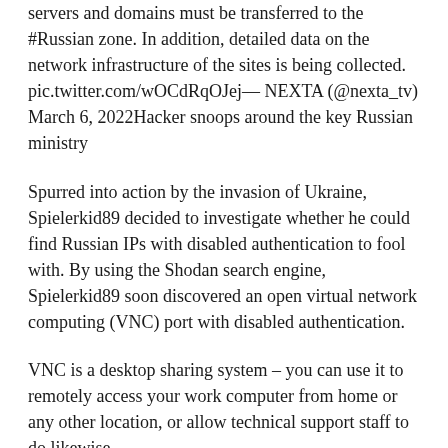servers and domains must be transferred to the #Russian zone. In addition, detailed data on the network infrastructure of the sites is being collected. pic.twitter.com/wOCdRqOJej— NEXTA (@nexta_tv) March 6, 2022Hacker snoops around the key Russian ministry
Spurred into action by the invasion of Ukraine, Spielerkid89 decided to investigate whether he could find Russian IPs with disabled authentication to fool with. By using the Shodan search engine, Spielerkid89 soon discovered an open virtual network computing (VNC) port with disabled authentication.
VNC is a desktop sharing system – you can use it to remotely access your work computer from home or any other location, or allow technical support staff to do likewise.